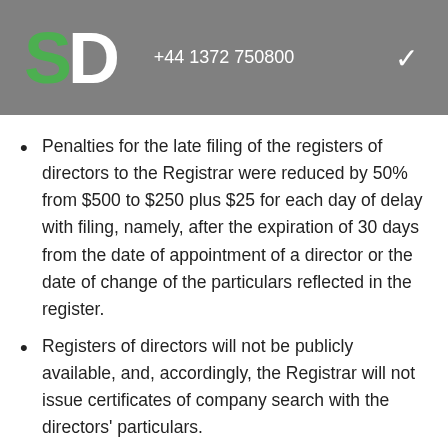SD  +44 1372 750800
Penalties for the late filing of the registers of directors to the Registrar were reduced by 50% from $500 to $250 plus $25 for each day of delay with filing, namely, after the expiration of 30 days from the date of appointment of a director or the date of change of the particulars reflected in the register.
Registers of directors will not be publicly available, and, accordingly, the Registrar will not issue certificates of company search with the directors' particulars.
The term for the restoration of IBCs after striking